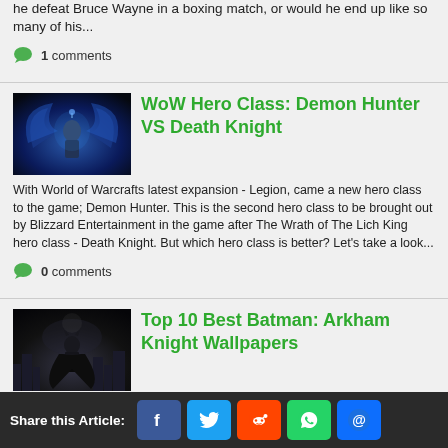he defeat Bruce Wayne in a boxing match, or would he end up like so many of his...
1 comments
WoW Hero Class: Demon Hunter VS Death Knight
[Figure (illustration): WoW Demon Hunter character art with blue/purple fantasy theme]
With World of Warcrafts latest expansion - Legion, came a new hero class to the game; Demon Hunter. This is the second hero class to be brought out by Blizzard Entertainment in the game after The Wrath of The Lich King hero class - Death Knight. But which hero class is better? Let's take a look...
0 comments
Top 10 Best Batman: Arkham Knight Wallpapers
[Figure (illustration): Batman Arkham Knight dark cityscape art]
Here Are The 10 Best Arkham Knight Wallpapers This Article contains Spoilers for Batman: Arkham Knight. Proceed with caution. Even though it has been nearly
Share this Article: